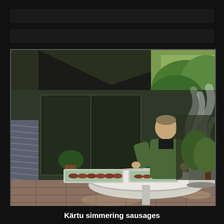[Figure (photo): Outdoor backyard scene showing a person in a green jacket standing at a round white table, cooking/handling sausages in a large steaming pot. Cooked sausages are laid out on baking trays on the table. A house with sliding glass doors and a patio is visible in the background, along with green trees and garden plants.]
Kärtu simmering sausages